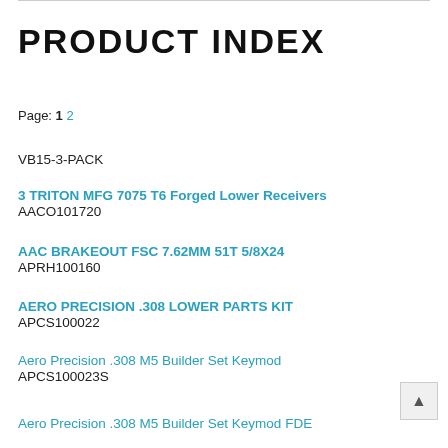PRODUCT INDEX
Page: 1 2
VB15-3-PACK
3 TRITON MFG 7075 T6 Forged Lower Receivers
AACO101720
AAC BRAKEOUT FSC 7.62MM 51T 5/8X24
APRH100160
AERO PRECISION .308 LOWER PARTS KIT
APCS100022
Aero Precision .308 M5 Builder Set Keymod
APCS100023S
Aero Precision .308 M5 Builder Set Keymod FDE